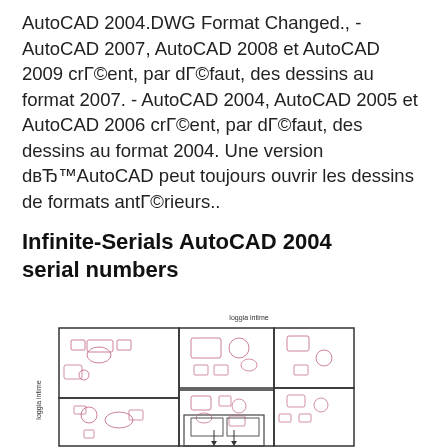AutoCAD 2004.DWG Format Changed., - AutoCAD 2007, AutoCAD 2008 et AutoCAD 2009 crГ©ent, par dГ©faut, des dessins au format 2007. - AutoCAD 2004, AutoCAD 2005 et AutoCAD 2006 crГ©ent, par dГ©faut, des dessins au format 2004. Une version dвЂ™AutoCAD peut toujours ouvrir les dessins de formats antГ©rieurs..
Infinite-Serials AutoCAD 2004 serial numbers
[Figure (illustration): Architectural floor plan drawing showing rooms with furniture layout, labeled 'loggia intime' at top and left side, rendered in a CAD style with pink/red furniture symbols on white background with black outlines.]